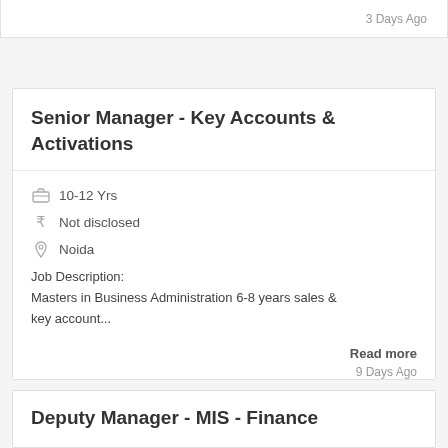3 Days Ago
Senior Manager - Key Accounts & Activations
10-12 Yrs
Not disclosed
Noida
Job Description:
Masters in Business Administration 6-8 years sales & key account...
Read more
9 Days Ago
Deputy Manager - MIS - Finance